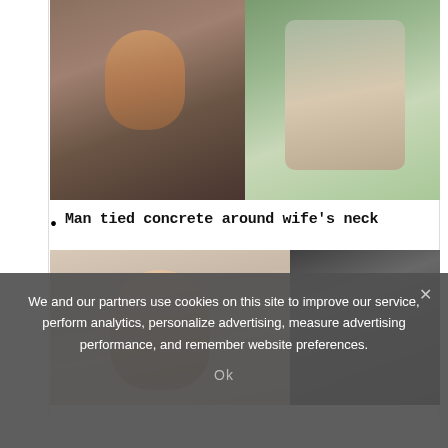[Figure (photo): Two side-by-side photos: left is a mugshot of a man with short dark hair and goatee in a gray shirt; right is a photo of a couple standing together outdoors on grass]
Man tied concrete around wife's neck
[Figure (photo): Two side-by-side photos: left is a color portrait of a middle-aged blonde woman with short hair; right is a black-and-white photo of a couple sitting outdoors near water]
We and our partners use cookies on this site to improve our service, perform analytics, personalize advertising, measure advertising performance, and remember website preferences.